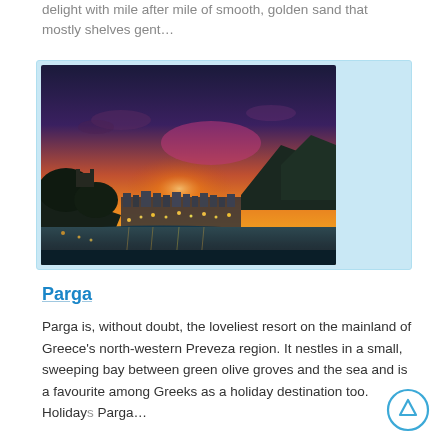delight with mile after mile of smooth, golden sand that mostly shelves gent…
[Figure (photo): Aerial sunset photograph of Parga, Greece, showing a coastal town with a sweeping bay, olive-tree-covered headland with castle, waterfront lights reflected in the sea, and dramatic orange-pink-purple sunset sky over surrounding hills.]
Parga
Parga is, without doubt, the loveliest resort on the mainland of Greece's north-western Preveza region. It nestles in a small, sweeping bay between green olive groves and the sea and is a favourite among Greeks as a holiday destination too. Holidays in Parga…